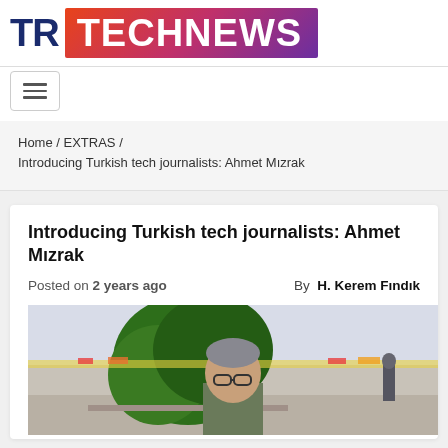[Figure (logo): TR TechNews logo with TR in dark navy blue and TECHNEWS on a red-to-purple gradient banner]
[Figure (other): Hamburger menu button icon with three horizontal bars]
Home / EXTRAS / Introducing Turkish tech journalists: Ahmet Mızrak
Introducing Turkish tech journalists: Ahmet Mızrak
Posted on 2 years ago   By  H. Kerem Fındık
[Figure (photo): Photo of a man with glasses and grey hair sitting outdoors near a large green tree, with a person walking in the background]